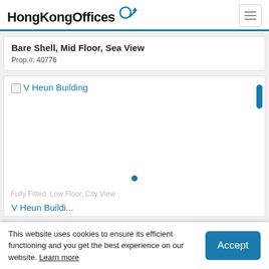HongKongOffices
Bare Shell, Mid Floor, Sea View
Prop.#: 40776
[Figure (screenshot): V Heun Building listing card with image placeholder, scroll thumb, and map dot]
This website uses cookies to ensure its efficient functioning and you get the best experience on our website. Learn more
Accept